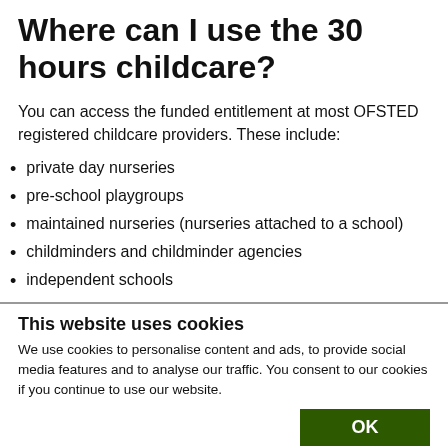Where can I use the 30 hours childcare?
You can access the funded entitlement at most OFSTED registered childcare providers. These include:
private day nurseries
pre-school playgroups
maintained nurseries (nurseries attached to a school)
childminders and childminder agencies
independent schools
This website uses cookies
We use cookies to personalise content and ads, to provide social media features and to analyse our traffic. You consent to our cookies if you continue to use our website.
OK
Necessary  Preferences  Statistics  Marketing  Show details